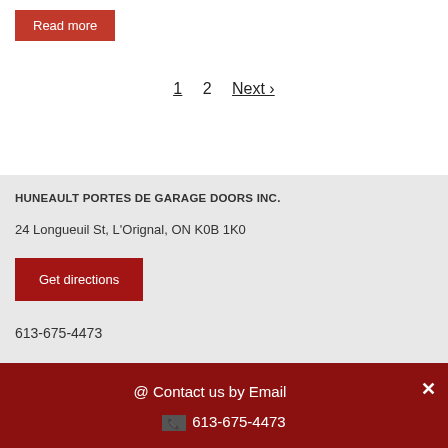Read more
1  2  Next ›
HUNEAULT PORTES DE GARAGE DOORS INC.
24 Longueuil St, L'Orignal, ON K0B 1K0
Get directions
613-675-4473
@ Contact us by Email
613-675-4473